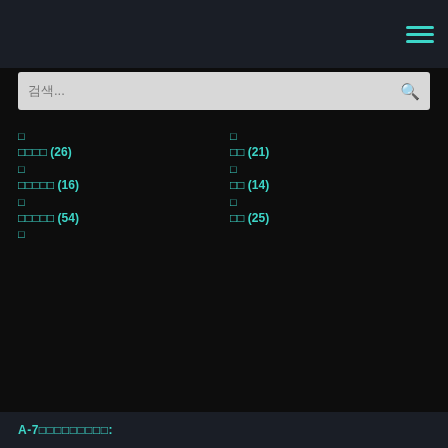☰ (hamburger menu icon)
검색... (search placeholder)
□
□□□□ (26)
□
□□□□□ (16)
□
□□□□□ (54)
□
□
□□ (21)
□
□□ (14)
□
□□ (25)
A-7□□□□□□□□□: